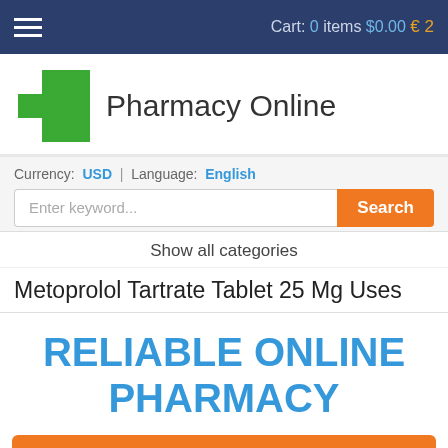Cart: 0 items $0.00 2
[Figure (logo): Green pharmacy cross logo with text Pharmacy Online]
Currency: USD | Language: English
Enter keyword... Search
Show all categories
Metoprolol Tartrate Tablet 25 Mg Uses
RELIABLE ONLINE PHARMACY
> Click here to order now